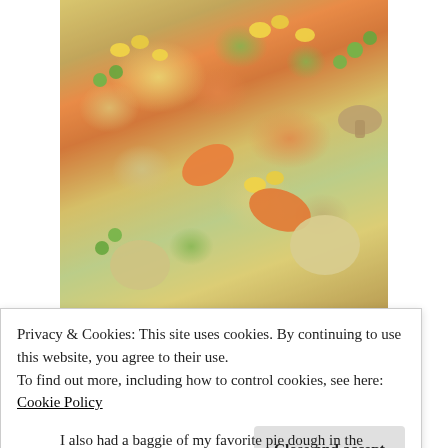[Figure (photo): Close-up photo of chicken pot pie filling with vegetables: corn, peas, carrots, potatoes, mushrooms in a creamy sauce]
Advertisements
[Figure (screenshot): Advertisement for Pressable: 'ThePlatform Where WordPress Works Best' with Pressable logo]
REPORT THIS AD
And he did...
Privacy & Cookies: This site uses cookies. By continuing to use this website, you agree to their use.
To find out more, including how to control cookies, see here: Cookie Policy
I also had a baggie of my favorite pie dough in the